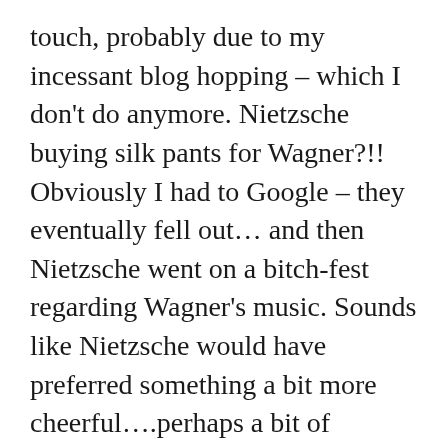touch, probably due to my incessant blog hopping – which I don't do anymore. Nietzsche buying silk pants for Wagner?!! Obviously I had to Google – they eventually fell out… and then Nietzsche went on a bitch-fest regarding Wagner's music. Sounds like Nietzsche would have preferred something a bit more cheerful….perhaps a bit of Madonna? Anyhow, I am pleased you are here Looby, maybe we can encourage Monsieur Pain to focus more on his blog so that we don't lose him to Instagram.
Sx